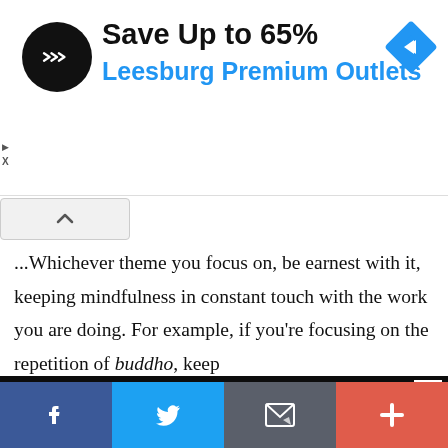[Figure (other): Advertisement banner: black circular logo with double arrow icon, text 'Save Up to 65%' and 'Leesburg Premium Outlets' in blue, blue diamond navigation icon on right]
...Whichever theme you focus on, be earnest with it, keeping mindfulness in constant touch with the work you are doing. For example, if you're focusing on the repetition of buddho, keep
This website uses cookies to ensure you get the best experience on our website.
Got it!